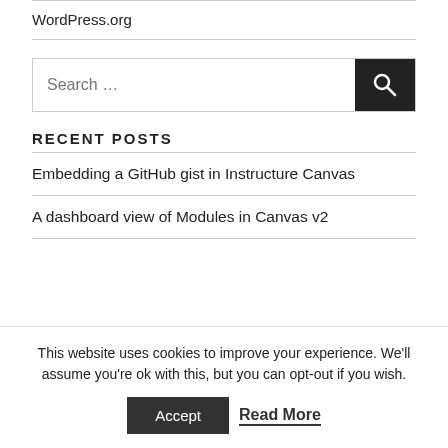WordPress.org
[Figure (other): Search box with text 'Search …' and a dark Search button with magnifying glass icon]
RECENT POSTS
Embedding a GitHub gist in Instructure Canvas
A dashboard view of Modules in Canvas v2
This website uses cookies to improve your experience. We'll assume you're ok with this, but you can opt-out if you wish.
Accept   Read More